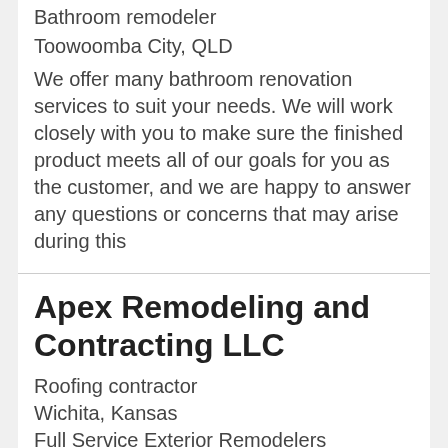Bathroom remodeler
Toowoomba City, QLD
We offer many bathroom renovation services to suit your needs. We will work closely with you to make sure the finished product meets all of our goals for you as the customer, and we are happy to answer any questions or concerns that may arise during this
Apex Remodeling and Contracting LLC
Roofing contractor
Wichita, Kansas
Full Service Exterior Remodelers